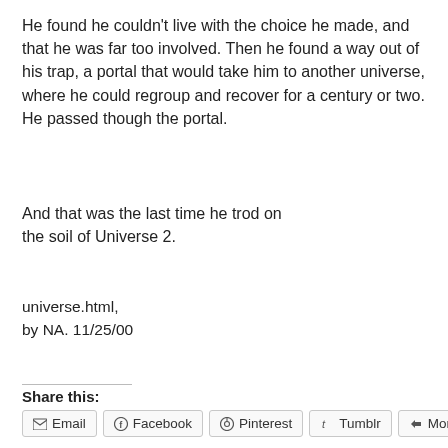He found he couldn't live with the choice he made, and that he was far too involved. Then he found a way out of his trap, a portal that would take him to another universe, where he could regroup and recover for a century or two. He passed though the portal.
And that was the last time he trod on the soil of Universe 2.
universe.html,
by NA. 11/25/00
Share this:
Email  Facebook  Pinterest  Tumblr  More